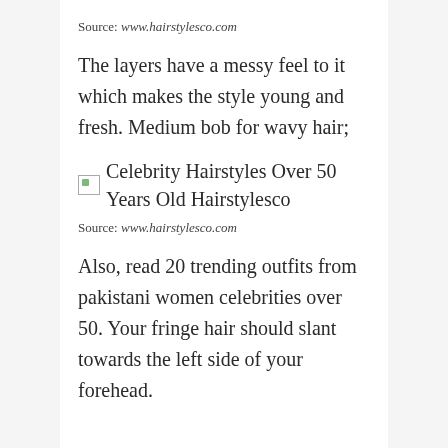Source: www.hairstylesco.com
The layers have a messy feel to it which makes the style young and fresh. Medium bob for wavy hair;
[Figure (illustration): Broken image placeholder icon followed by text: Celebrity Hairstyles Over 50 Years Old Hairstylesco]
Source: www.hairstylesco.com
Also, read 20 trending outfits from pakistani women celebrities over 50. Your fringe hair should slant towards the left side of your forehead.